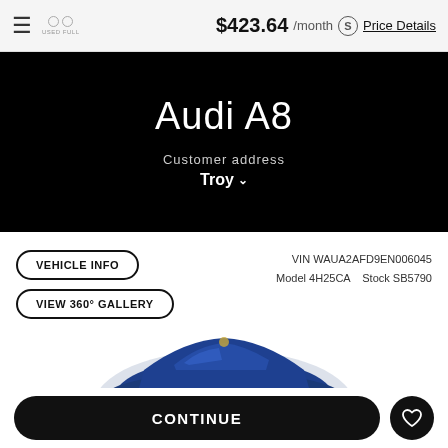$423.64 /month  Price Details
Audi A8
Customer address
Troy
VEHICLE INFO
VIEW 360° GALLERY
VIN WAUA2AFD9EN006045  Model 4H25CA    Stock SB5790
[Figure (photo): Partial view of a blue Audi A8 vehicle from above/front angle]
CONTINUE